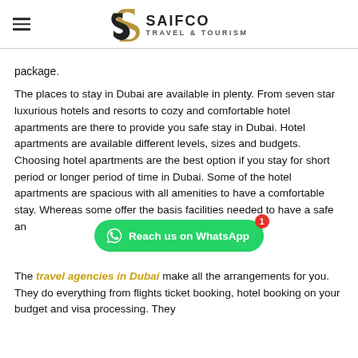SAIFCO TRAVEL & TOURISM
package.
The places to stay in Dubai are available in plenty. From seven star luxurious hotels and resorts to cozy and comfortable hotel apartments are there to provide you safe stay in Dubai. Hotel apartments are available different levels, sizes and budgets. Choosing hotel apartments are the best option if you stay for short period or longer period of time in Dubai. Some of the hotel apartments are spacious with all amenities to have a comfortable stay. Whereas some offer the basis facilities needed to have a safe an
The travel agencies in Dubai make all the arrangements for you. They do everything from flights ticket booking, hotel booking on your budget and visa processing. They